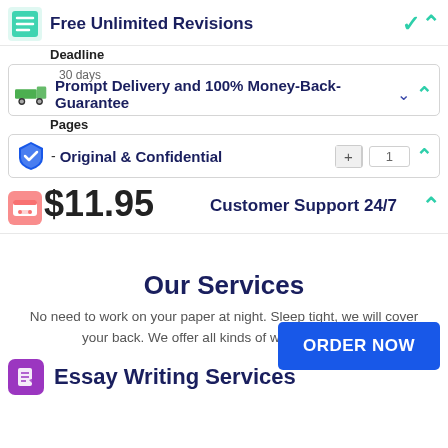Free Unlimited Revisions
Deadline
Prompt Delivery and 100% Money-Back-Guarantee
30 days
Pages
Original & Confidential
$11.95
Customer Support 24/7
ORDER NOW
Our Services
No need to work on your paper at night. Sleep tight, we will cover your back. We offer all kinds of writing services.
Essay Writing Services